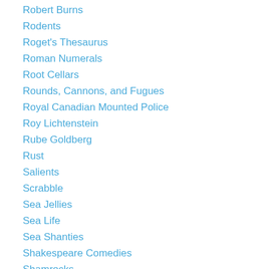Robert Burns
Rodents
Roget's Thesaurus
Roman Numerals
Root Cellars
Rounds, Cannons, and Fugues
Royal Canadian Mounted Police
Roy Lichtenstein
Rube Goldberg
Rust
Salients
Scrabble
Sea Jellies
Sea Life
Sea Shanties
Shakespeare Comedies
Shamrocks
Sharks
Sir Francis Drake
Snakes